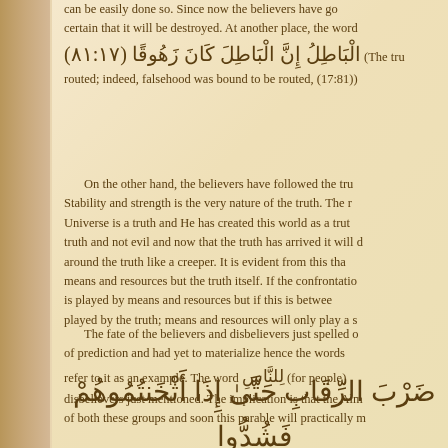can be easily done so. Since now the believers have gone certain that it will be destroyed. At another place, the word البَاطِلُ إِنَّ الْبَاطِلَ كَانَ زَهُوقًا (٨١:١٧) (The truth has come and falsehood has been routed; indeed, falsehood was bound to be routed, (17:81))
On the other hand, the believers have followed the truth. Stability and strength is the very nature of the truth. The reality of the Universe is a truth and He has created this world as a truth, for truth and not evil and now that the truth has arrived it will drive away falsehood around the truth like a creeper. It is evident from this that the role is played by means and resources but the truth itself. If the confrontation is played by means and resources but if this is between truth and falsehood, played by the truth; means and resources will only play a secondary role.
The fate of the believers and disbelievers just spelled out was in the form of prediction and had yet to materialize hence the words refer to it as an example. The word لِلنَّاسِ (for people) refers to the believers and disbelievers just mentioned. The implication is that the Almighty is aware of both these groups and soon this parable will practically manifest itself.
ضَرْبَ الرِّقَابَ حَتَّىٰ إِذَا أَثْخَنتُمُوهُمْ فَشُدُّوا الْوَثَاقَ فَإِمَّا مَنًّا بَعْدُ وَإِمَّا فِدَاءً حَتَّىٰ تَضَعَ الْحَرْبُ أَوْزَارَهَا ذَٰلِكَ وَلَوْ يَشَاءُ اللَّهُ لَانتَصَرَ مِنْهُمْ وَلَٰكِن